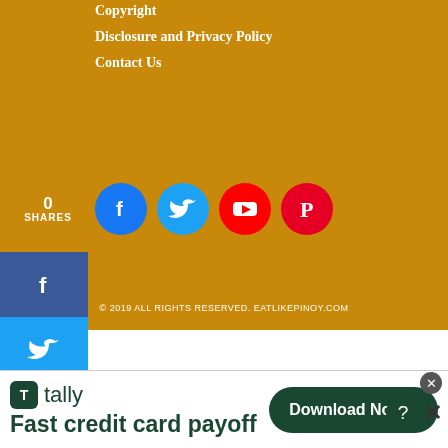Copyright
Disclosure and Privacy Policy
Contact Us
[Figure (infographic): Social share count showing 0 SHARES, followed by circular social media icons: Facebook (blue), Twitter (light blue), YouTube (red), Pinterest (red)]
[Figure (infographic): Vertical sidebar social share buttons: Facebook (dark blue), Twitter (light blue), Pinterest (red)]
© 2019 ALL RIGHTS RESERVED. EATLIKEPINOY.COM
[Figure (screenshot): Advertisement banner for Tally app: 'Fast credit card payoff' with a Download Now button]